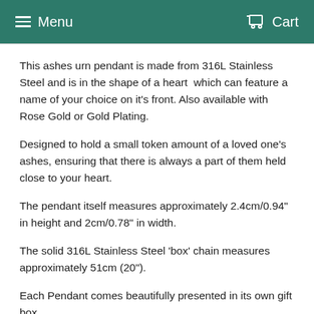Menu  Cart
This ashes urn pendant is made from 316L Stainless Steel and is in the shape of a heart  which can feature a name of your choice on it's front. Also available with Rose Gold or Gold Plating.
Designed to hold a small token amount of a loved one's ashes, ensuring that there is always a part of them held close to your heart.
The pendant itself measures approximately 2.4cm/0.94" in height and 2cm/0.78" in width.
The solid 316L Stainless Steel 'box' chain measures approximately 51cm (20").
Each Pendant comes beautifully presented in its own gift box